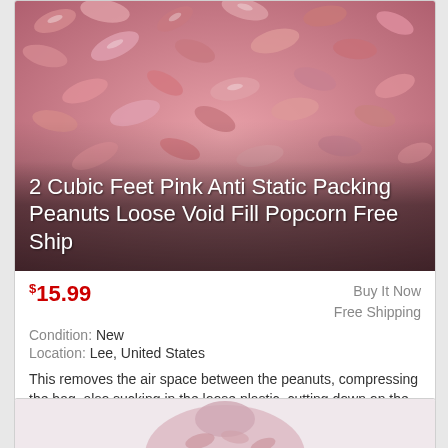[Figure (photo): Close-up photo of pink anti-static packing peanuts with white product title text overlaid]
2 Cubic Feet Pink Anti Static Packing Peanuts Loose Void Fill Popcorn Free Ship
$15.99
Buy It Now
Free Shipping
Condition: New
Location: Lee, United States
This removes the air space between the peanuts, compressing the bag, also sucking in the loose plastic, cutting down on the chance of a ripped bag spilling ... more
[Figure (photo): Partial view of a bag of pink packing peanuts at bottom of page]